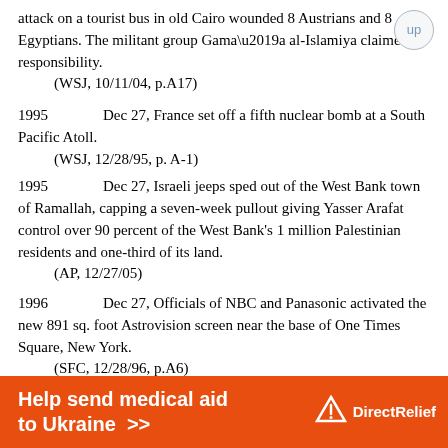attack on a tourist bus in old Cairo wounded 8 Austrians and 8 Egyptians. The militant group Gama’a al-Islamiya claimed responsibility.
    (WSJ, 10/11/04, p.A17)
1995	Dec 27, France set off a fifth nuclear bomb at a South Pacific Atoll.
    (WSJ, 12/28/95, p. A-1)
1995	Dec 27, Israeli jeeps sped out of the West Bank town of Ramallah, capping a seven-week pullout giving Yasser Arafat control over 90 percent of the West Bank’s 1 million Palestinian residents and one-third of its land.
    (AP, 12/27/05)
1996	Dec 27, Officials of NBC and Panasonic activated the new 891 sq. foot Astrovision screen near the base of One Times Square, New York.
    (SFC, 12/28/96, p.A6)
1996	Dec 27, Officials in Las Vegas announced that the 12-story, 900-room, 10-year-old...
[Figure (other): Orange advertisement banner: 'Help send medical aid to Ukraine >>' with Direct Relief logo]